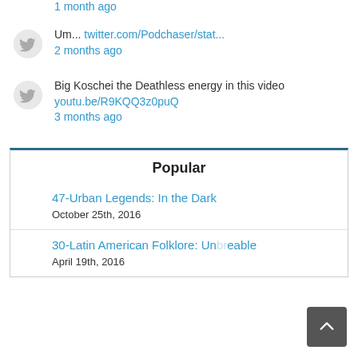1 month ago
Um... twitter.com/Podchaser/stat...
2 months ago
Big Koschei the Deathless energy in this video youtu.be/R9KQQ3z0puQ
3 months ago
Popular
47-Urban Legends: In the Dark
October 25th, 2016
30-Latin American Folklore: Unbreakable
April 19th, 2016